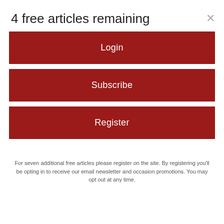4 free articles remaining
Login
Subscribe
Register
For seven additional free articles please register on the site. By registering you'll be opting in to receive our email newsletter and occasion promotions. You may opt out at any time.
[Figure (photo): Partial image of food/natural item visible behind modal overlay]
One Bite Of This Keeps Blood Sugar Below 100 (Try Tonight)